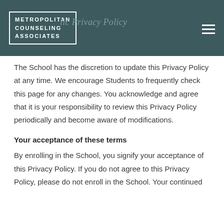Metropolitan Counseling Associates
...lic Privacy Policy
The School has the discretion to update this Privacy Policy at any time. We encourage Students to frequently check this page for any changes. You acknowledge and agree that it is your responsibility to review this Privacy Policy periodically and become aware of modifications.
Your acceptance of these terms
By enrolling in the School, you signify your acceptance of this Privacy Policy. If you do not agree to this Privacy Policy, please do not enroll in the School. Your continued